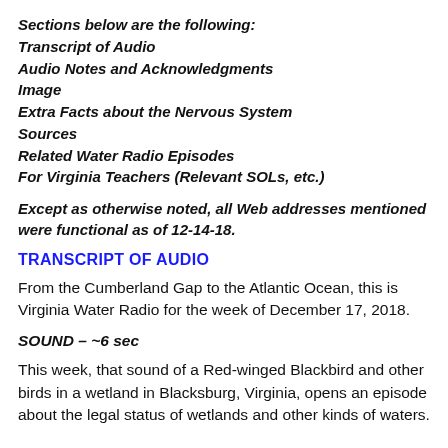Sections below are the following:
Transcript of Audio
Audio Notes and Acknowledgments
Image
Extra Facts about the Nervous System
Sources
Related Water Radio Episodes
For Virginia Teachers (Relevant SOLs, etc.)
Except as otherwise noted, all Web addresses mentioned were functional as of 12-14-18.
TRANSCRIPT OF AUDIO
From the Cumberland Gap to the Atlantic Ocean, this is Virginia Water Radio for the week of December 17, 2018.
SOUND – ~6 sec
This week, that sound of a Red-winged Blackbird and other birds in a wetland in Blacksburg, Virginia, opens an episode about the legal status of wetlands and other kinds of waters.